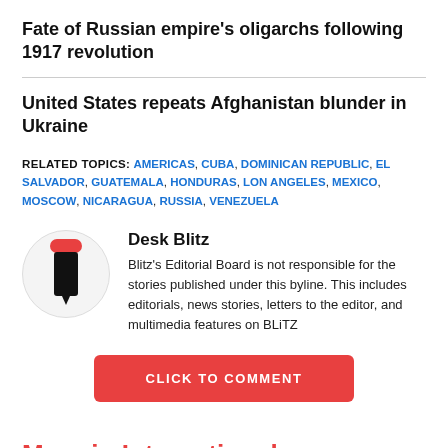Fate of Russian empire's oligarchs following 1917 revolution
United States repeats Afghanistan blunder in Ukraine
RELATED TOPICS: AMERICAS, CUBA, DOMINICAN REPUBLIC, EL SALVADOR, GUATEMALA, HONDURAS, LON ANGELES, MEXICO, MOSCOW, NICARAGUA, RUSSIA, VENEZUELA
Desk Blitz
Blitz's Editorial Board is not responsible for the stories published under this byline. This includes editorials, news stories, letters to the editor, and multimedia features on BLiTZ
CLICK TO COMMENT
More in International